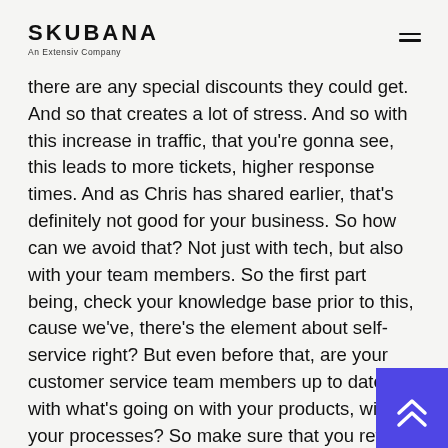SKUBANA
An Extensiv Company
there are any special discounts they could get. And so that creates a lot of stress. And so with this increase in traffic, that you're gonna see, this leads to more tickets, higher response times. And as Chris has shared earlier, that's definitely not good for your business. So how can we avoid that? Not just with tech, but also with your team members. So the first part being, check your knowledge base prior to this, cause we've, there's the element about self-service right? But even before that, are your customer service team members up to date with what's going on with your products, with your processes? So make sure that you refresh and expand on your knowledge base as needed. And this leads to the second part, create Black Friday Cyber Monday specific FA